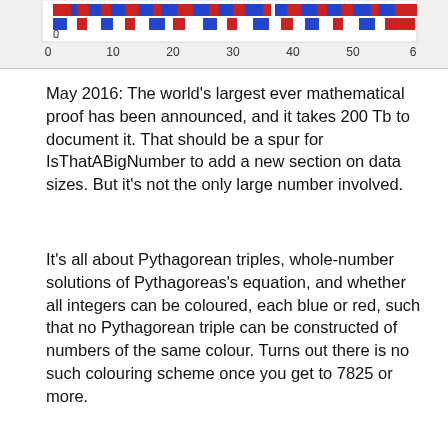[Figure (other): Partial view of a coloured number line chart showing integers coloured blue and red, with x-axis labels 0, 10, 20, 30, 40, 50, and partial label at right edge. Y-axis shows 0 at top-left.]
May 2016: The world's largest ever mathematical proof has been announced, and it takes 200 Tb to document it. That should be a spur for IsThatABigNumber to add a new section on data sizes. But it's not the only large number involved.
It's all about Pythagorean triples, whole-number solutions of Pythagoreas's equation, and whether all integers can be coloured, each blue or red, such that no Pythagorean triple can be constructed of numbers of the same colour. Turns out there is no such colouring scheme once you get to 7825 or more.
Choosing colours brings us to combinations - in this case that there are 10^2300 ways of colouring 7825, and that is a whole new class of big number.
And finally, the proof wins a prize of $100 (not a big number) from Ronald Graham, who gives his name to the famously big Graham's Number.